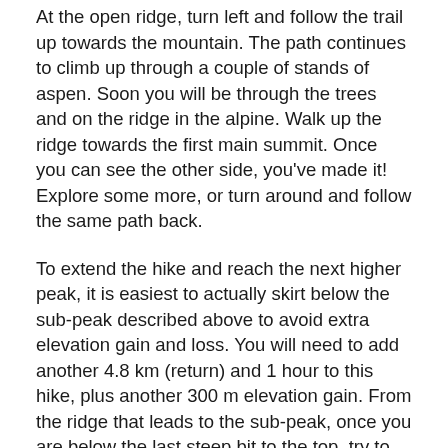At the open ridge, turn left and follow the trail up towards the mountain. The path continues to climb up through a couple of stands of aspen. Soon you will be through the trees and on the ridge in the alpine. Walk up the ridge towards the first main summit. Once you can see the other side, you've made it! Explore some more, or turn around and follow the same path back.
To extend the hike and reach the next higher peak, it is easiest to actually skirt below the sub-peak described above to avoid extra elevation gain and loss. You will need to add another 4.8 km (return) and 1 hour to this hike, plus another 300 m elevation gain. From the ridge that leads to the sub-peak, once you are below the last steep bit to the top, try to meet up with a well-defined sheep trail that leads to the right, across the rocky slope to the saddle. From the saddle you will pick your way up the very rocky and at times steep, narrow ridge. It is an exciting challenge and the views are amazing, as long as the peak is not